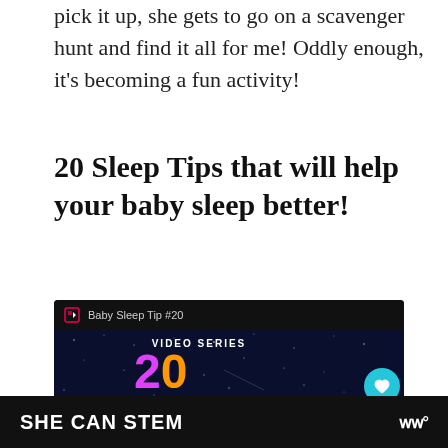pick it up, she gets to go on a scavenger hunt and find it all for me! Oddly enough, it's becoming a fun activity!
20 Sleep Tips that will help your baby sleep better!
[Figure (screenshot): Embedded video card showing 'Baby Sleep Tip #20' with a dark space-themed background displaying '20 BABY SLEEP VIDEO SERIES' in multicolored text, with heart, number badge (1), and share buttons on the right side. A bottom bar shows 'SHE CAN STEM' branding.]